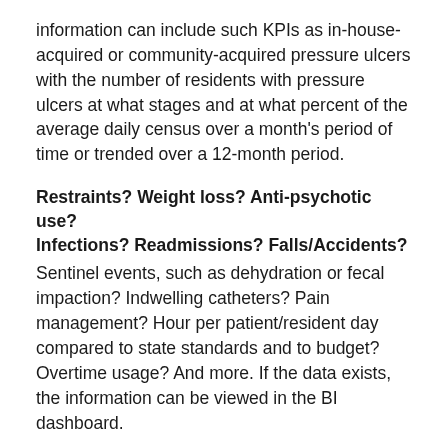information can include such KPIs as in-house-acquired or community-acquired pressure ulcers with the number of residents with pressure ulcers at what stages and at what percent of the average daily census over a month's period of time or trended over a 12-month period.
Restraints? Weight loss? Anti-psychotic use? Infections? Readmissions? Falls/Accidents?
Sentinel events, such as dehydration or fecal impaction? Indwelling catheters? Pain management? Hour per patient/resident day compared to state standards and to budget? Overtime usage? And more. If the data exists, the information can be viewed in the BI dashboard.
Now, I referred earlier to managers making KPIs their own. How about comparing the KPIs against benchmarks the clinical team has created based on regulations and company/facility-established standards, usually set to exceed the regulatory